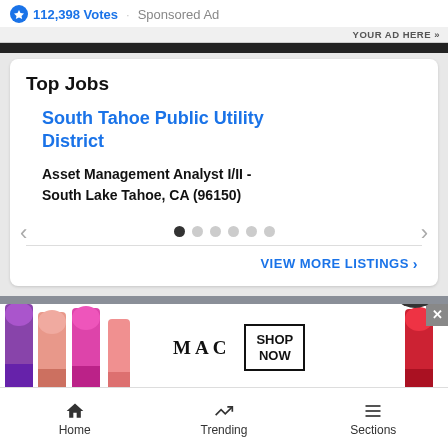112,398 Votes · Sponsored Ad
YOUR AD HERE »
Top Jobs
South Tahoe Public Utility District
Asset Management Analyst I/II - South Lake Tahoe, CA (96150)
VIEW MORE LISTINGS ›
[Figure (screenshot): MAC cosmetics sponsored advertisement banner with lipsticks and SHOP NOW button]
Home   Trending   Sections